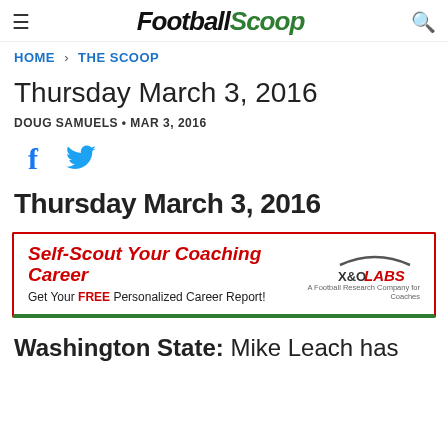FootballScoop
HOME › THE SCOOP
Thursday March 3, 2016
DOUG SAMUELS • MAR 3, 2016
[Figure (infographic): Social share icons: Facebook (f) and Twitter (bird) in blue]
Thursday March 3, 2016
[Figure (infographic): X&O Labs advertisement banner: 'Self-Scout Your Coaching Career' in red italic bold, 'Get Your FREE Personalized Career Report!' subtitle, X&O LABS logo on right with arc graphic. Red border top/sides, green border bottom.]
Washington State: Mike Leach has